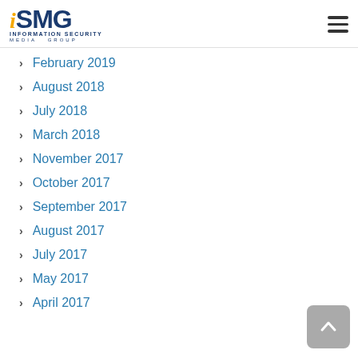iSMG — INFORMATION SECURITY MEDIA GROUP
February 2019
August 2018
July 2018
March 2018
November 2017
October 2017
September 2017
August 2017
July 2017
May 2017
April 2017